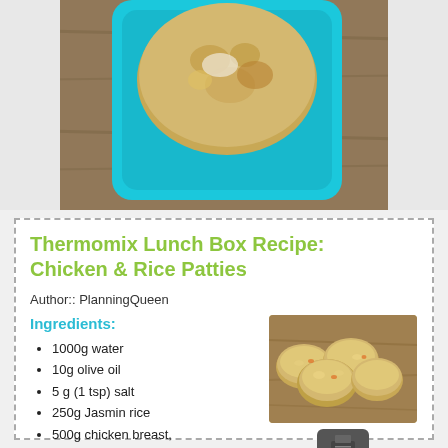[Figure (photo): Top-down photo of a food item in a bright blue square bowl on a wooden surface]
Thermomix Lunch Box Recipe: Chicken & Rice Patties
Author:: PlanningQueen
Ingredients:
[Figure (photo): Photo of chicken and rice patties on a wooden surface]
1000g water
10g olive oil
5 g (1 tsp) salt
250g Jasmin rice
500g chicken breast, roughly chopped